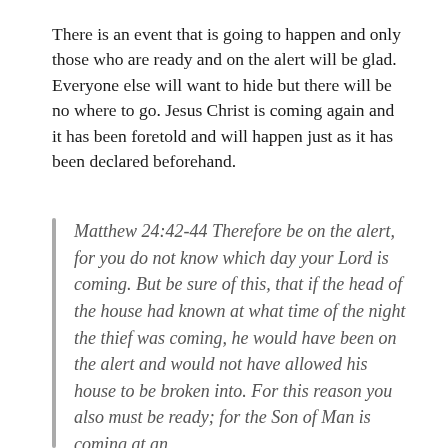There is an event that is going to happen and only those who are ready and on the alert will be glad. Everyone else will want to hide but there will be no where to go. Jesus Christ is coming again and it has been foretold and will happen just as it has been declared beforehand.
Matthew 24:42-44 Therefore be on the alert, for you do not know which day your Lord is coming. But be sure of this, that if the head of the house had known at what time of the night the thief was coming, he would have been on the alert and would not have allowed his house to be broken into. For this reason you also must be ready; for the Son of Man is coming at an